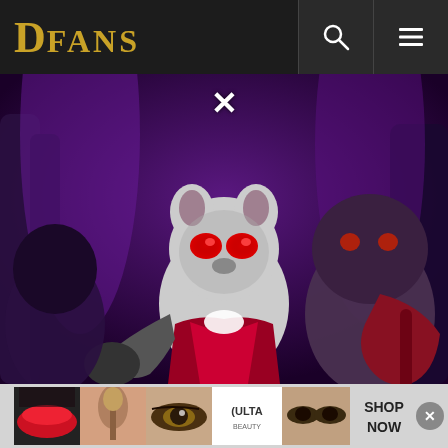DFANS
[Figure (illustration): Animated/cartoon style dark fantasy scene showing a small creature character with glowing red eyes wearing a red and dark outfit, set against a purple and dark background with stylized trees/plants. A white X close button appears at the top center of the image.]
[Figure (photo): Advertisement banner for ULTA beauty showing close-up makeup photos (lips with red lipstick, makeup brush, eye with makeup, ULTA logo, woman's eyes with dramatic makeup) with a 'SHOP NOW' call to action button. A grey close X button appears on the right side.]